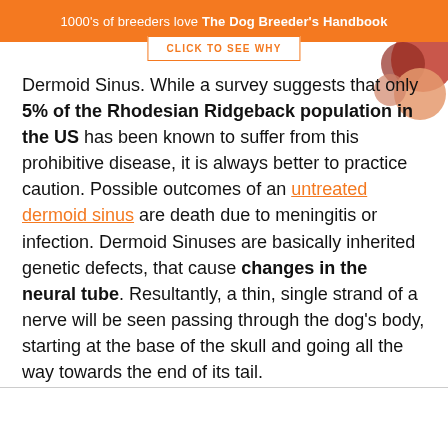1000's of breeders love The Dog Breeder's Handbook
Dermoid Sinus. While a survey suggests that only 5% of the Rhodesian Ridgeback population in the US has been known to suffer from this prohibitive disease, it is always better to practice caution. Possible outcomes of an untreated dermoid sinus are death due to meningitis or infection. Dermoid Sinuses are basically inherited genetic defects, that cause changes in the neural tube. Resultantly, a thin, single strand of a nerve will be seen passing through the dog's body, starting at the base of the skull and going all the way towards the end of its tail.